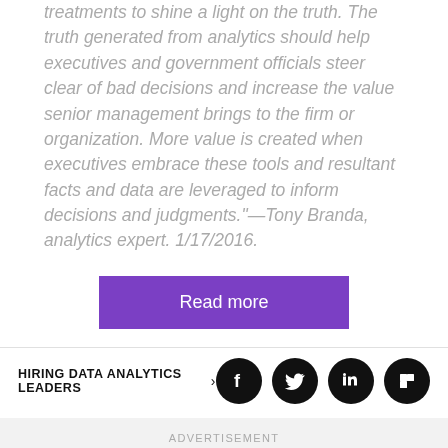treatments to shine a light on the truth. The truth generated from analytics should help executives and government officials steer clear of bad decisions and increase the value senior management brings to the firm or organization. More value is created when executives embrace these tools and resultant facts and data are leveraged to inform decisions and judgments."—Tony Branda, analytics expert. 1/17/2016.
Read more
HIRING DATA ANALYTICS LEADERS ›
ADVERTISEMENT
POPULAR
How To Apply For A Job You're Not 100% Qualified For